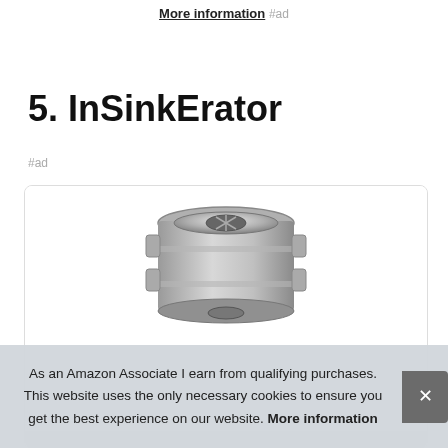More information #ad
5. InSinkErator
#ad
[Figure (photo): InSinkErator garbage disposal unit product photo, top-down angled view showing metallic cylindrical unit]
As an Amazon Associate I earn from qualifying purchases. This website uses the only necessary cookies to ensure you get the best experience on our website. More information